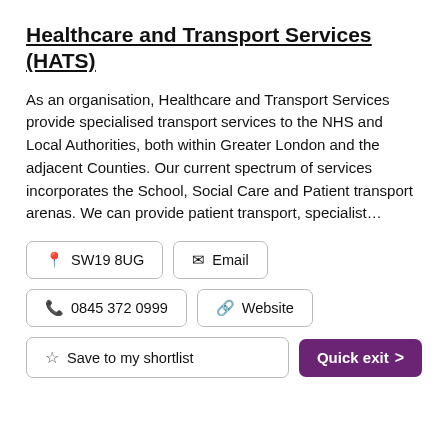Healthcare and Transport Services (HATS)
As an organisation, Healthcare and Transport Services provide specialised transport services to the NHS and Local Authorities, both within Greater London and the adjacent Counties. Our current spectrum of services incorporates the School, Social Care and Patient transport arenas. We can provide patient transport, specialist...
SW19 8UG
Email
0845 372 0999
Website
Save to my shortlist
Quick exit